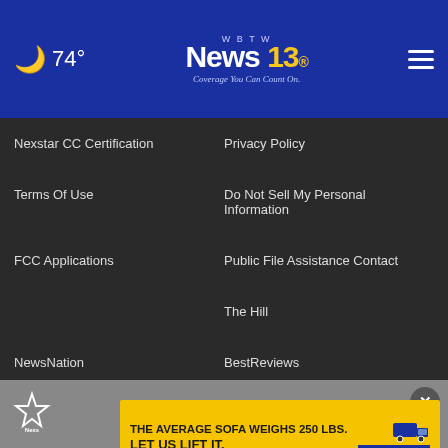🌙 74° | WBTW News 13 | Coverage You Can Count On. | ☰
Nexstar CC Certification
Privacy Policy
Terms Of Use
Do Not Sell My Personal Information
FCC Applications
Public File Assistance Contact
The Hill
NewsNation
BestReviews
Content Licensing
Nexstar Digital
[Figure (logo): Nexstar logo in footer bar]
[Figure (infographic): TWO MEN AND A TRUCK advertisement banner: THE AVERAGE SOFA WEIGHS 250 LBS. LET US LIFT IT. MYRTLE BEACH • 843.234.2155]